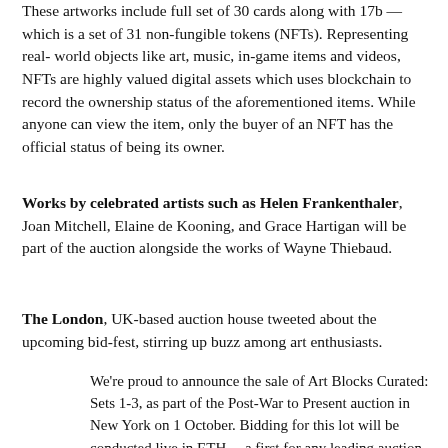These artworks include full set of 30 cards along with 17b — which is a set of 31 non-fungible tokens (NFTs). Representing real-world objects like art, music, in-game items and videos, NFTs are highly valued digital assets which uses blockchain to record the ownership status of the aforementioned items. While anyone can view the item, only the buyer of an NFT has the official status of being its owner.
Works by celebrated artists such as Helen Frankenthaler, Joan Mitchell, Elaine de Kooning, and Grace Hartigan will be part of the auction alongside the works of Wayne Thiebaud.
The London, UK-based auction house tweeted about the upcoming bid-fest, stirring up buzz among art enthusiasts.
We're proud to announce the sale of Art Blocks Curated: Sets 1-3, as part of the Post-War to Present auction in New York on 1 October. Bidding for this lot will be conducted live in ETH—a first for any leading auction house. #NFTs #digitalart #onlineauction @artblocks_io pic.twitter.com/iDNK6VviYi